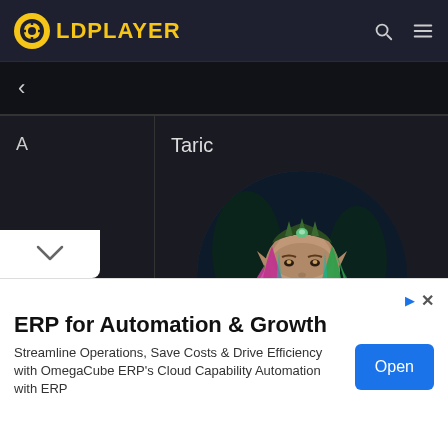LDPLAYER
< (back)
|  |  |
| --- | --- |
| A | Taric |
[Figure (illustration): Circular portrait of Taric, a fantasy elf character with long green and pink hair wearing dark green armor, depicted against a dark forest background]
v (chevron down)
ERP for Automation & Growth
Streamline Operations, Save Costs & Drive Efficiency with OmegaCube ERP's Cloud Capability Automation with ERP
Open